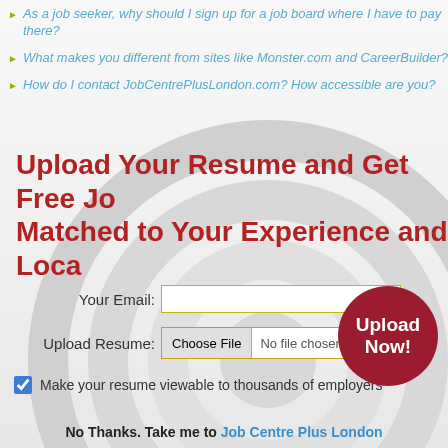As a job seeker, why should I sign up for a job board where I have to pay there?
What makes you different from sites like Monster.com and CareerBuilder?
How do I contact JobCentrePlusLondon.com? How accessible are you?
Upload Your Resume and Get Free Jobs Matched to Your Experience and Location
Your Email: [input field]
Upload Resume: Choose File No file chosen
Make your resume viewable to thousands of employers
[Figure (other): Upload Now! circular red button]
No Thanks. Take me to Job Centre Plus London